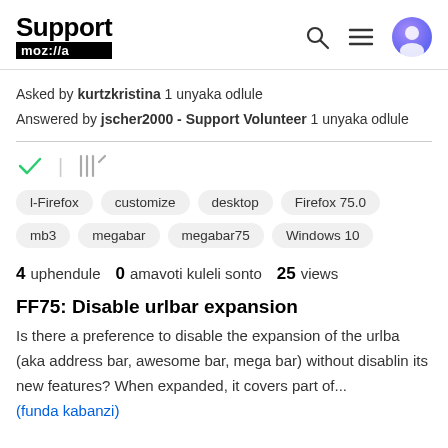Support moz://a
Asked by kurtzkristina 1 unyaka odlule
Answered by jscher2000 - Support Volunteer 1 unyaka odlule
Tags: l-Firefox, customize, desktop, Firefox 75.0, mb3, megabar, megabar75, Windows 10
4 uphendule  0 amavoti kuleli sonto  25 views
FF75: Disable urlbar expansion
Is there a preference to disable the expansion of the urlba (aka address bar, awesome bar, mega bar) without disablin its new features? When expanded, it covers part of...
(funda kabanzi)